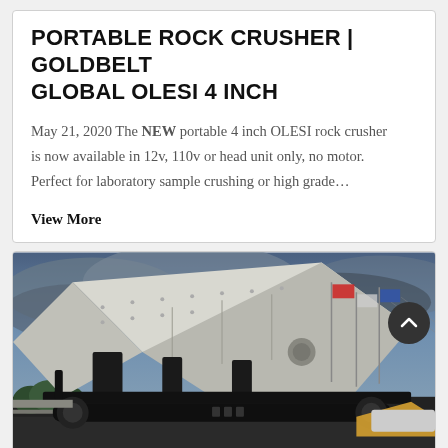PORTABLE ROCK CRUSHER | GOLDBELT GLOBAL OLESI 4 INCH
May 21, 2020 The NEW portable 4 inch OLESI rock crusher is now available in 12v, 110v or head unit only, no motor. Perfect for laboratory sample crushing or high grade…
View More
[Figure (photo): A large portable rock crusher machine photographed from a low angle against a dramatic cloudy sky. The machine is white and black with industrial components, mounted on tracks. Flags are visible in the background.]